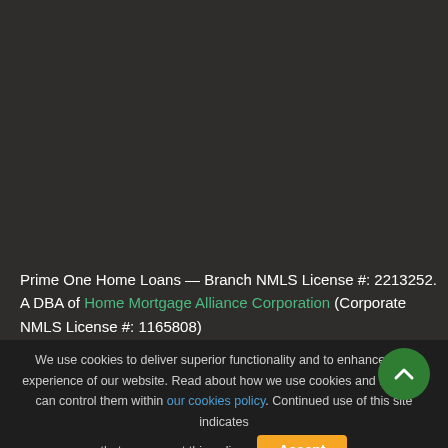Prime One Home Loans — Branch NMLS License #: 2213252. A DBA of Home Mortgage Alliance Corporation (Corporate NMLS License #: 1165808)
We use cookies to deliver superior functionality and to enhance your experience of our website. Read about how we use cookies and how you can control them within our cookies policy. Continued use of this site indicates that you accept this policy. Accept